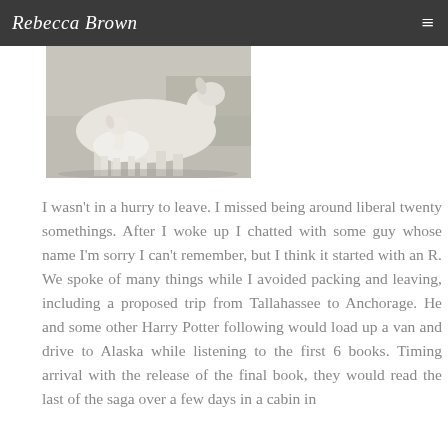Rebecca Brown
[Figure (photo): A white baby goat nursing or standing beside a larger white goat, photographed outdoors near a fence or wall.]
I wasn't in a hurry to leave. I missed being around liberal twenty somethings. After I woke up I chatted with some guy whose name I'm sorry I can't remember, but I think it started with an R. We spoke of many things while I avoided packing and leaving, including a proposed trip from Tallahassee to Anchorage. He and some other Harry Potter following would load up a van and drive to Alaska while listening to the first 6 books. Timing arrival with the release of the final book, they would read the last of the saga over a few days in a cabin in